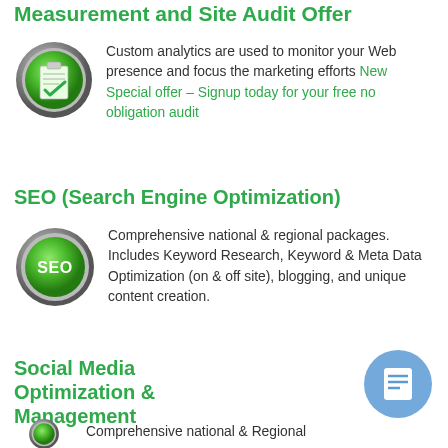Measurement and Site Audit Offer
Custom analytics are used to monitor your Web presence and focus the marketing efforts New Special offer – Signup today for your free no obligation audit
SEO (Search Engine Optimization)
Comprehensive national & regional packages. Includes Keyword Research, Keyword & Meta Data Optimization (on & off site), blogging, and unique content creation.
Social Media Optimization & Management
Comprehensive national & Regional